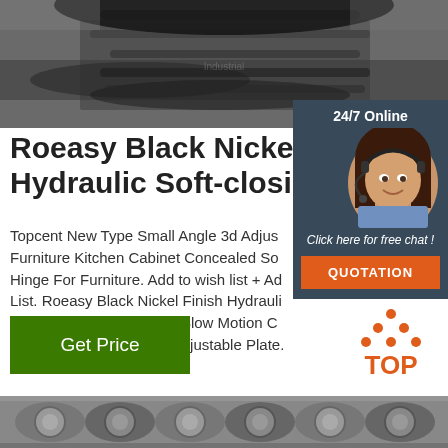[Figure (photo): Industrial metal pipes/rods stacked in a factory setting, dark tones]
[Figure (infographic): 24/7 Online chat widget with woman wearing headset, 'Click here for free chat!' text and orange QUOTATION button]
Roeasy Black Nickel Finish Hydraulic Soft-closing 3d Cabinet Hinge
Topcent New Type Small Angle 3d Adjustable Furniture Kitchen Cabinet Concealed Soft Hinge For Furniture. Add to wish list + Add to List. Roeasy Black Nickel Finish Hydraulic Soft-closing 3d Cabinet Hinge Slow Motion Concealed Furniture Hinge With 3d Adjustable Plate.
[Figure (other): Get Price green button]
[Figure (logo): TOP logo with orange dot pattern triangle above text]
[Figure (photo): Metal pipes/tubes stacked, industrial, partial view at bottom of page]